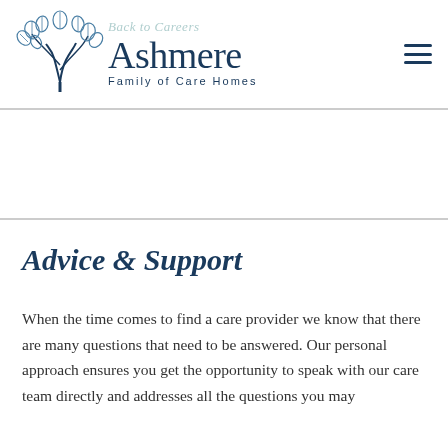[Figure (logo): Ashmere Family of Care Homes logo with a decorative tree illustration and the text 'Ashmere Family of Care Homes'. A faint 'Back to Careers' link appears above the logo name. A hamburger menu icon appears on the right.]
Advice & Support
When the time comes to find a care provider we know that there are many questions that need to be answered. Our personal approach ensures you get the opportunity to speak with our care team directly and addresses all the questions you may